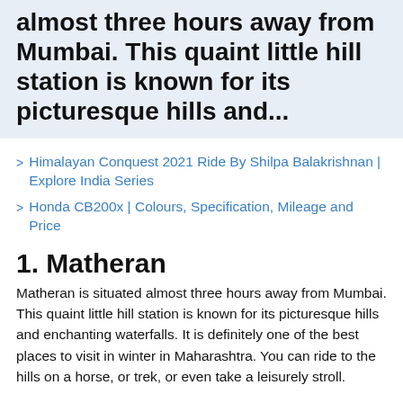almost three hours away from Mumbai. This quaint little hill station is known for its picturesque hills and...
Himalayan Conquest 2021 Ride By Shilpa Balakrishnan | Explore India Series
Honda CB200x | Colours, Specification, Mileage and Price
1. Matheran
Matheran is situated almost three hours away from Mumbai. This quaint little hill station is known for its picturesque hills and enchanting waterfalls. It is definitely one of the best places to visit in winter in Maharashtra. You can ride to the hills on a horse, or trek, or even take a leisurely stroll.